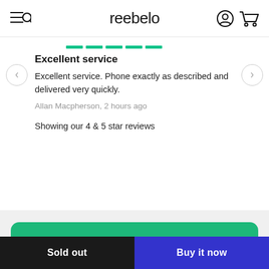reebelo
Excellent service
Excellent service. Phone exactly as described and delivered very quickly.
Allan Macpherson, 2 hours ago
Showing our 4 & 5 star reviews
Join the Circular Economy
E-waste is the fastest growing waste stream damaging our planet. Together with your help, we make tech
Sold out | Buy it now